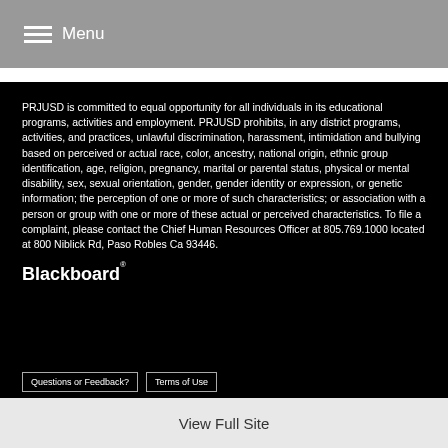Menu
PRJUSD is committed to equal opportunity for all individuals in its educational programs, activities and employment. PRJUSD prohibits, in any district programs, activities, and practices, unlawful discrimination, harassment, intimidation and bullying based on perceived or actual race, color, ancestry, national origin, ethnic group identification, age, religion, pregnancy, marital or parental status, physical or mental disability, sex, sexual orientation, gender, gender identity or expression, or genetic information; the perception of one or more of such characteristics; or association with a person or group with one or more of these actual or perceived characteristics. To file a complaint, please contact the Chief Human Resources Officer at 805.769.1000 located at 800 Niblick Rd, Paso Robles Ca 93446.
[Figure (logo): Blackboard logo in white text with trademark symbol]
View Full Site